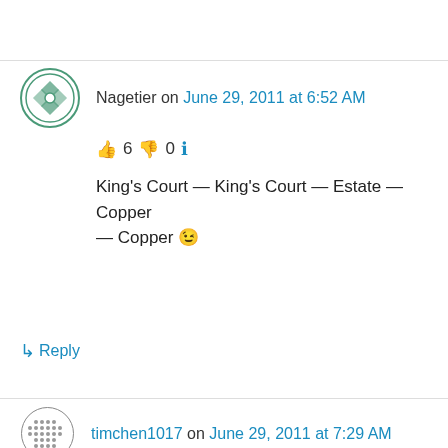Nagetier on June 29, 2011 at 6:52 AM
👍 6 👎 0 ℹ️
King's Court — King's Court — Estate — Copper — Copper 😉
↳ Reply
timchen1017 on June 29, 2011 at 7:29 AM
Privacy & Cookies: This site uses cookies. By continuing to use this website, you agree to their use. To find out more, including how to control cookies, see here: Cookie Policy
Close and accept